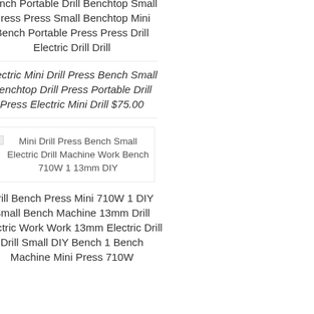Bench Portable Drill Benchtop Small Press Press Small Benchtop Mini Bench Portable Press Press Drill Electric Drill Drill
Electric Mini Drill Press Bench Small Benchtop Drill Press Portable Drill Press Electric Mini Drill $75.00
[Figure (photo): Product image placeholder for Mini Drill Press Bench Small Electric Drill Machine Work Bench 710W 1 13mm DIY]
Drill Bench Press Mini 710W 1 DIY Small Bench Machine 13mm Drill Electric Work Work 13mm Electric Drill Drill Small DIY Bench 1 Bench Machine Mini Press 710W